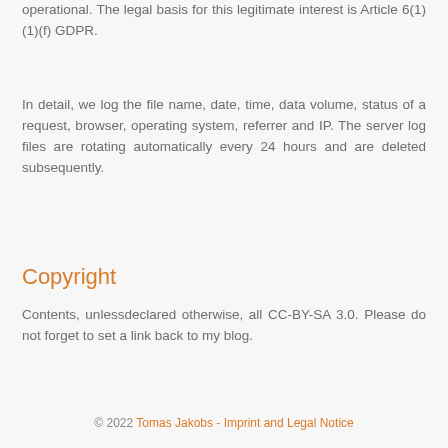operational. The legal basis for this legitimate interest is Article 6(1)(1)(f) GDPR.
In detail, we log the file name, date, time, data volume, status of a request, browser, operating system, referrer and IP. The server log files are rotating automatically every 24 hours and are deleted subsequently.
Copyright
Contents, unlessdeclared otherwise, all CC-BY-SA 3.0. Please do not forget to set a link back to my blog.
© 2022 Tomas Jakobs - Imprint and Legal Notice